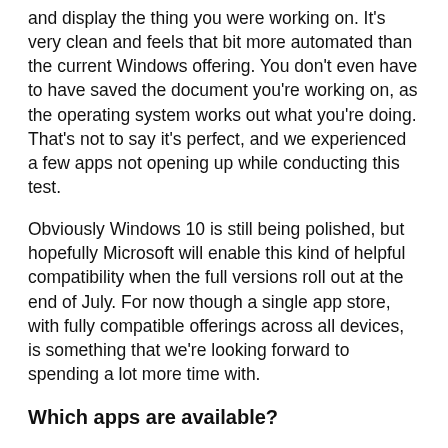and display the thing you were working on. It's very clean and feels that bit more automated than the current Windows offering. You don't even have to have saved the document you're working on, as the operating system works out what you're doing. That's not to say it's perfect, and we experienced a few apps not opening up while conducting this test.
Obviously Windows 10 is still being polished, but hopefully Microsoft will enable this kind of helpful compatibility when the full versions roll out at the end of July. For now though a single app store, with fully compatible offerings across all devices, is something that we're looking forward to spending a lot more time with.
Which apps are available?